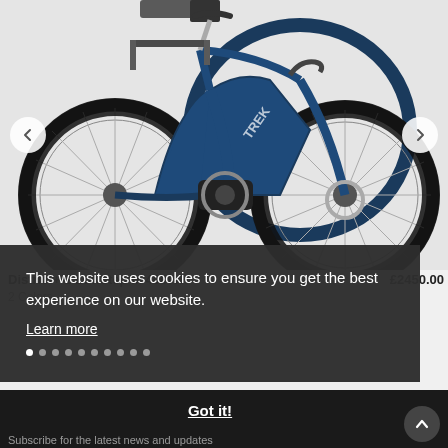[Figure (photo): Product photo of a Trek District+ 1 Lowstep M 400WH electric city bike in navy/dark blue color, showing the mid-drive motor, rear rack, and both wheels. Navigation arrows (left and right) are overlaid on the image.]
District+ 1 Lowstep M 400WH
2 Colors
£2450.00
This website uses cookies to ensure you get the best experience on our website.
Learn more
Got it!
Sign-up for updates
Subscribe for the latest news and updates